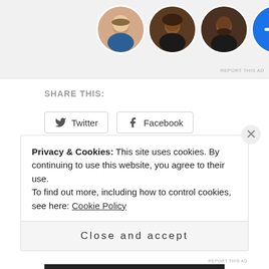[Figure (photo): Partial ad banner with four circular avatar photos: a woman with light skin, a woman with dark skin and curly hair, a man with medium-dark skin and beard, and a blue circle with a white plus sign.]
REPORT THIS AD
SHARE THIS:
Twitter
Facebook
Like
Be the first to like this.
Privacy & Cookies: This site uses cookies. By continuing to use this website, you agree to their use.
To find out more, including how to control cookies, see here: Cookie Policy
Close and accept